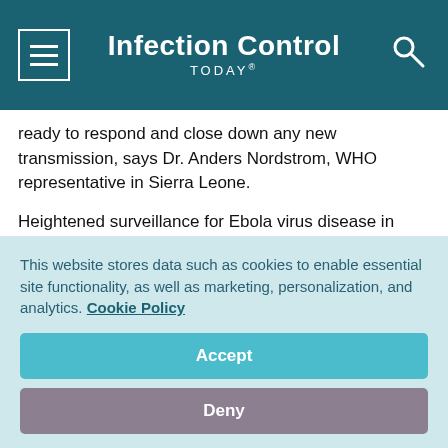Infection Control TODAY®
ready to respond and close down any new transmission, says Dr. Anders Nordstrom, WHO representative in Sierra Leone.
Heightened surveillance for Ebola virus disease in Sierra Leone includes swabbing all people who have died at home and testing those swabs for Ebola virus. On Aug. 29, 2015, a swab taken from a woman who died in the village of Sella, Tonko Limba, Kambia district, tested positive for Ebola virus.
This website stores data such as cookies to enable essential site functionality, as well as marketing, personalization, and analytics. Cookie Policy
Accept
Deny